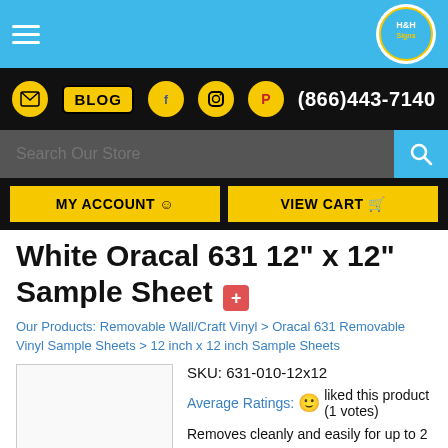H&H Signs store header with navigation
White Oracal 631 12" x 12" Sample Sheet
Our Products: Removable Wall/Craft Vinyl > Oracal 631 Removable Vinyl Sample Sheets > 12 inch x 12 inch Sample Sheets
SKU: 631-010-12x12
Average Ratings: liked this product (1 votes)
Removes cleanly and easily for up to 2